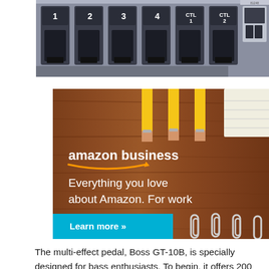[Figure (photo): Close-up photo of the Boss GT-10B multi-effect pedal showing numbered footswitches labeled 1, 2, 3, 4, CTL1, CTL2 on a metallic body]
[Figure (photo): Amazon Business advertisement with pencils and paper clips on a wooden desk background. Text reads 'amazon business - Everything you love about Amazon. For work' with a 'Learn more »' button on a cyan background.]
The multi-effect pedal, Boss GT-10B, is specially designed for bass enthusiasts. To begin, it offers 200 different effects for